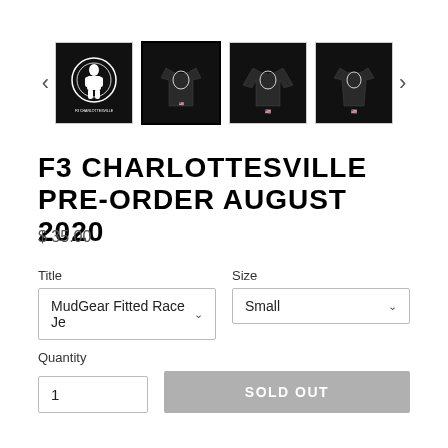[Figure (screenshot): Product image gallery showing 4 thumbnail images of F3 Charlottesville shirts (circle logo, fitted race jersey black shirt front, long sleeve black shirt, women's black shirt) with left/right navigation arrows]
F3 CHARLOTTESVILLE PRE-ORDER AUGUST 2020
$ 35.00
Title
MudGear Fitted Race Je
Size
Small
Quantity
1
SOLD OUT